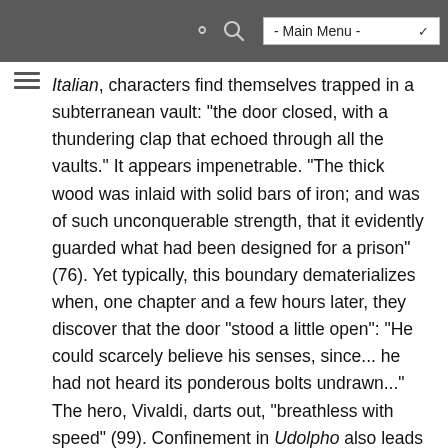- Main Menu -
Italian, characters find themselves trapped in a subterranean vault: "the door closed, with a thundering clap that echoed through all the vaults." It appears impenetrable. "The thick wood was inlaid with solid bars of iron; and was of such unconquerable strength, that it evidently guarded what had been designed for a prison" (76). Yet typically, this boundary dematerializes when, one chapter and a few hours later, they discover that the door "stood a little open": "He could scarcely believe his senses, since... he had not heard its ponderous bolts undrawn..." The hero, Vivaldi, darts out, "breathless with speed" (99). Confinement in Udolpho also leads to mysterious releases and then into prolonged states of wandering for no reason. Those heavy doors or walls rarely, if ever, exert a blocking or containing function, as we are reminded by countless